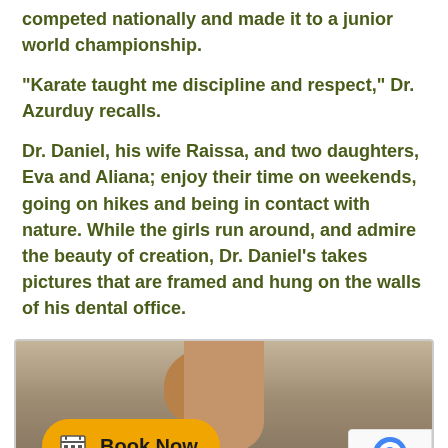competed nationally and made it to a junior world championship.
“Karate taught me discipline and respect,” Dr. Azurduy recalls.
Dr. Daniel, his wife Raissa, and two daughters, Eva and Aliana; enjoy their time on weekends, going on hikes and being in contact with nature. While the girls run around, and admire the beauty of creation, Dr. Daniel’s takes pictures that are framed and hung on the walls of his dental office.
[Figure (photo): Photo of a person (Dr. Daniel) with a Book Now button overlay and reCAPTCHA badge in the corner]